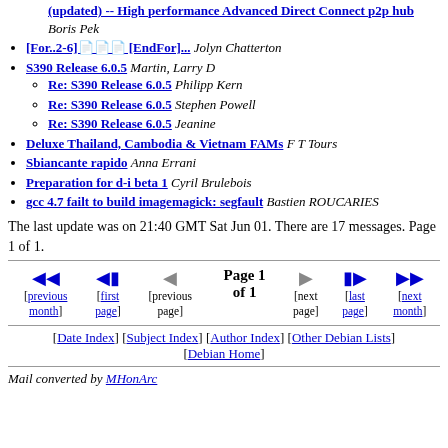(updated) -- High performance Advanced Direct Connect p2p hub Boris Pek
[For..2-6]... [EndFor]... Jolyn Chatterton
S390 Release 6.0.5 Martin, Larry D
Re: S390 Release 6.0.5 Philipp Kern
Re: S390 Release 6.0.5 Stephen Powell
Re: S390 Release 6.0.5 Jeanine
Deluxe Thailand, Cambodia & Vietnam FAMs F T Tours
Sbiancante rapido Anna Errani
Preparation for d-i beta 1 Cyril Brulebois
gcc 4.7 failt to build imagemagick: segfault Bastien ROUCARIES
The last update was on 21:40 GMT Sat Jun 01. There are 17 messages. Page 1 of 1.
Page 1 of 1 navigation with previous month, first page, previous page, next page, last page, next month
[Date Index] [Subject Index] [Author Index] [Other Debian Lists] [Debian Home]
Mail converted by MHonArc